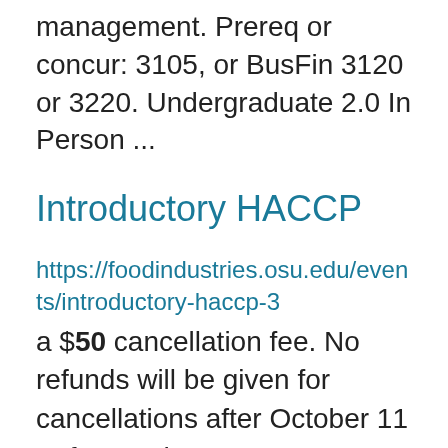management. Prereq or concur: 3105, or BusFin 3120 or 3220. Undergraduate 2.0 In Person ...
Introductory HACCP
https://foodindustries.osu.edu/events/introductory-haccp-3
a $50 cancellation fee. No refunds will be given for cancellations after October 11 or for no-shows. In ... https://safeandhealthy.osu.edu/campus-visitors  Individuals who test positive or experience symptoms of COVID-19 cannot attend the course and will ...
...d Fl...